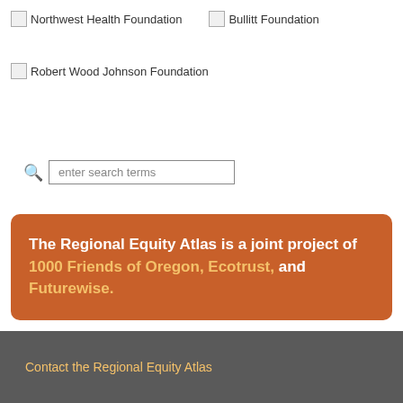[Figure (logo): Northwest Health Foundation logo placeholder]
[Figure (logo): Bullitt Foundation logo placeholder]
[Figure (logo): Robert Wood Johnson Foundation logo placeholder]
enter search terms
The Regional Equity Atlas is a joint project of 1000 Friends of Oregon, Ecotrust, and Futurewise.
Contact the Regional Equity Atlas